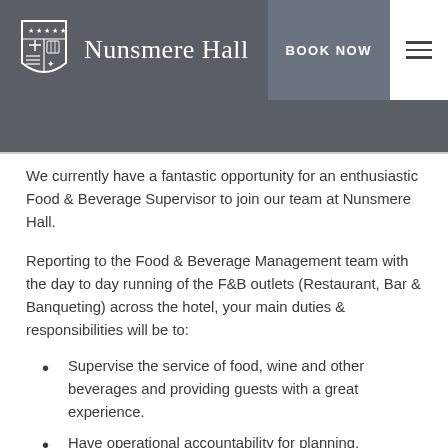Nunsmere Hall — BOOK NOW
We currently have a fantastic opportunity for an enthusiastic Food & Beverage Supervisor to join our team at Nunsmere Hall.
Reporting to the Food & Beverage Management team with the day to day running of the F&B outlets (Restaurant, Bar & Banqueting) across the hotel, your main duties & responsibilities will be to:
Supervise the service of food, wine and other beverages and providing guests with a great experience.
Have operational accountability for planning, organising and directing all services, including food